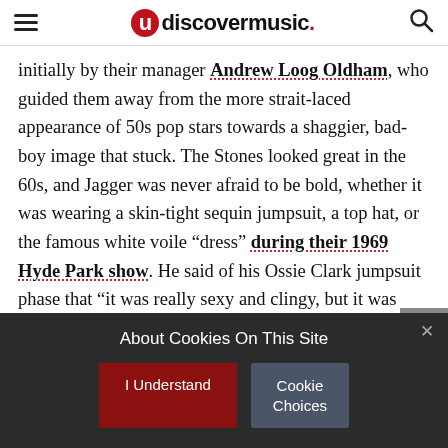udiscovermusic.
initially by their manager Andrew Loog Oldham, who guided them away from the more strait-laced appearance of 50s pop stars towards a shaggier, bad-boy image that stuck. The Stones looked great in the 60s, and Jagger was never afraid to be bold, whether it was wearing a skin-tight sequin jumpsuit, a top hat, or the famous white voile “dress” during their 1969 Hyde Park show. He said of his Ossie Clark jumpsuit phase that “it was really sexy and clingy, but it was very easy to move in.”
About Cookies On This Site
I Understand
Cookie Choices